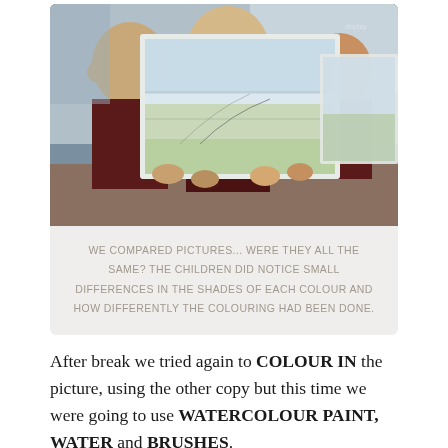[Figure (photo): Three primary school children in dark burgundy uniforms holding up large paper drawings, examining and comparing their watercolour pictures in a classroom setting.]
WE COMPARED PICTURES... WERE THEY ALL THE SAME? THE CHILDREN DID NOTICE SMALL DIFFERENCES IN THE SHADES OF EACH COLOUR AND HOW DIFFERENTLY THE COLOURING HAD BEEN DONE.
After break we tried again to COLOUR IN the picture, using the other copy but this time we were going to use WATERCOLOUR PAINT, WATER and BRUSHES.